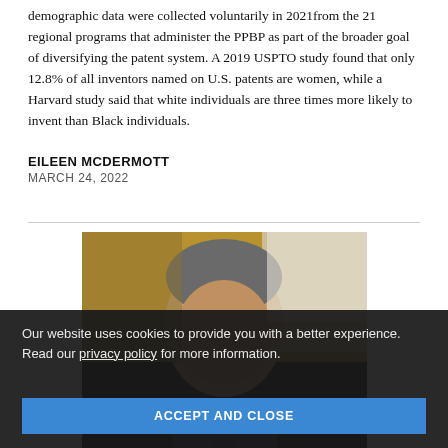demographic data were collected voluntarily in 2021 from the 21 regional programs that administer the PPBP as part of the broader goal of diversifying the patent system. A 2019 USPTO study found that only 12.8% of all inventors named on U.S. patents are women, while a Harvard study said that white individuals are three times more likely to invent than Black individuals.
EILEEN MCDERMOTT
MARCH 24, 2022
[Figure (photo): Portrait photo of an older man with grey hair, wearing a dark suit, photographed against a blurred background with warm golden tones.]
Our website uses cookies to provide you with a better experience. Read our privacy policy for more information.
ACCEPT AND CLOSE